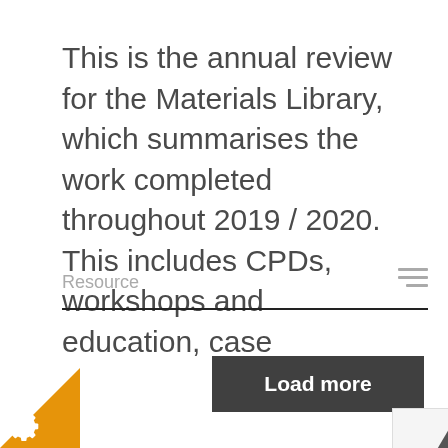This is the annual review for the Materials Library, which summarises the work completed throughout 2019 / 2020. This includes CPDs, workshops and education, case
Resource
[Figure (other): Hamburger/menu icon with three horizontal lines]
[Figure (other): Load more dark button with white bold text]
[Figure (other): Up arrow button in a white/grey box]
[Figure (other): Orange triangle corner with white gear/settings icon]